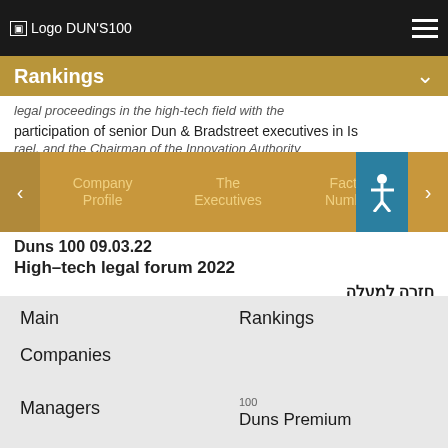Logo DUN'S100
Rankings
legal proceedings in the high-tech field with the participation of senior Dun & Bradstreet executives in Israel, and the Chairman of the Innovation Authority
Company Profile | The Executives | Facts & Numbers | G
Duns 100 09.03.22
High–tech legal forum 2022
חזרה למעלה
Main
Companies
Managers
Articles
Events
Rankings
100
Duns Premium
UP
Duns UP
≡
Duns Sectors